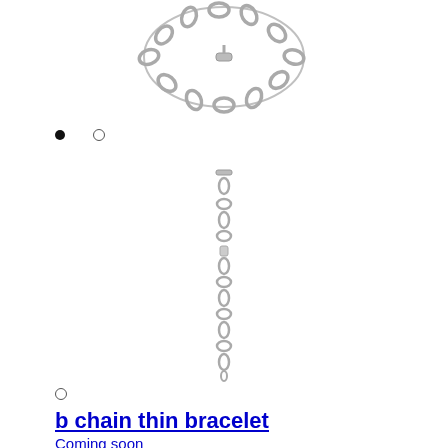[Figure (photo): Silver chain bracelet with toggle clasp, viewed from above, centered at top of page]
• ○ (image carousel indicators: one filled dot, one empty circle)
[Figure (photo): Silver chain bracelet hanging vertically, showing the toggle bar, centered in page]
○ (image carousel indicator: one empty circle)
b chain thin bracelet
Coming soon